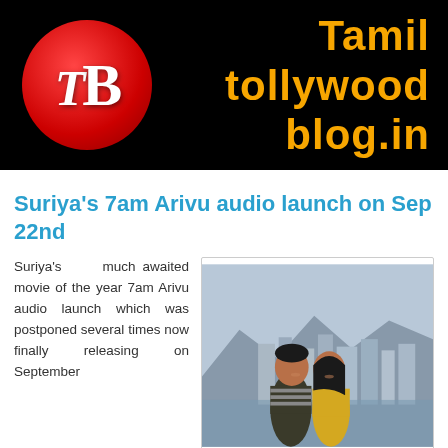[Figure (logo): Tamil Tollywood Blog logo banner: black background with red circle TB logo on left and orange bold text 'Tamil tollywood blog.in' on right]
Suriya's 7am Arivu audio launch on Sep 22nd
Suriya's much awaited movie of the year 7am Arivu audio launch which was postponed several times now finally releasing on September
[Figure (photo): Movie still showing a young man and woman standing together outdoors with a city skyline and mountains in the background]